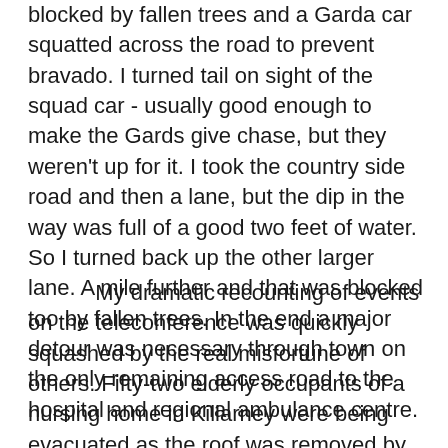blocked by fallen trees and a Garda car squatted across the road to prevent bravado. I turned tail on sight of the squad car - usually good enough to make the Gards give chase, but they weren't up for it. I took the country side road and then a lane, but the dip in the way was full of a good two feet of water. So I turned back up the other larger lane. A mile further and that was blocked too by fallen trees. In the end a major detour was necessary through town on the only remaining access road to the hospital and regional ambulance centre.
My dramatic recounting of events on the teleconference was quickly squashed by the real misfortune of others. Fifty-two elderly occupants of a nursing home in Killarney were being evacuated as the roof was removed by the storm. Miraculously no one was killed or seriously injured. So I went home and got on with it. The fog coming which held the...